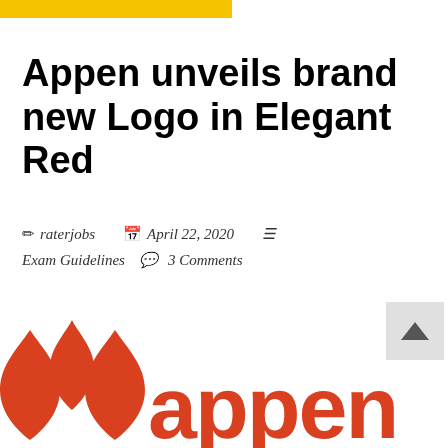[Figure (other): Yellow horizontal bar at the top left of the page]
Appen unveils brand new Logo in Elegant Red
✏ raterjobs  📅 April 22, 2020  ☰ Exam Guidelines  💬 3 Comments
[Figure (logo): Appen logo in red — three red flame/leaf shapes on the left and the word 'appen' in red lowercase letters on the right]